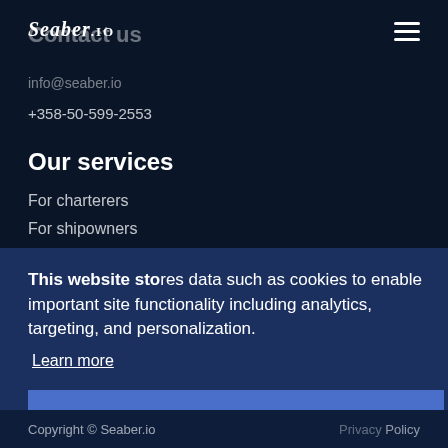Seaber.io
Contact us
info@seaber.io
+358-50-599-2553
Our services
For charterers
For shipowners
This website stores data such as cookies to enable important site functionality including analytics, targeting, and personalization.
Learn more
Got it!
About us
Blog & News
Copyright © Seaber.io    Privacy Policy